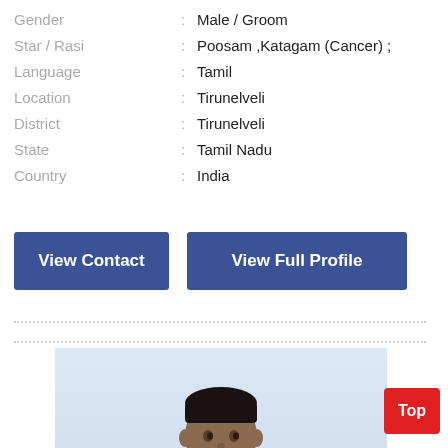Gender : Male / Groom
Star / Rasi : Poosam ,Katagam (Cancer) ;
Language : Tamil
Location : Tirunelveli
District : Tirunelveli
State : Tamil Nadu
Country : India
View Contact
View Full Profile
[Figure (photo): Portrait photo of a young man in a white checked shirt, standing outdoors against a light sky background, looking to one side with hands at waist level.]
Top